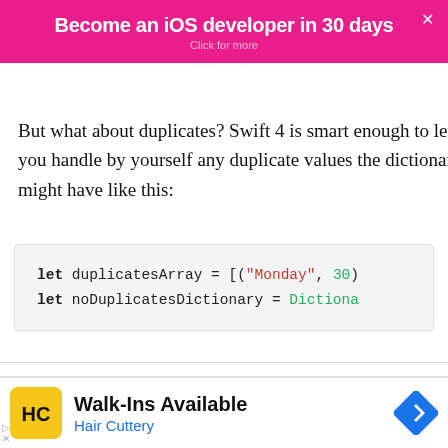[Figure (screenshot): Pink banner advertisement: 'Become an iOS developer in 30 days' with 'Click for more' subtitle and close X button]
But what about duplicates? Swift 4 is smart enough to let you handle by yourself any duplicate values the dictionary might have like this:
let duplicatesArray = [("Monday", 30)
let noDuplicatesDictionary = Dictiona
create a dictionary which has only unique keys
[Figure (screenshot): Advertisement for Hair Cuttery: 'Walk-Ins Available' with HC logo and navigation icon]